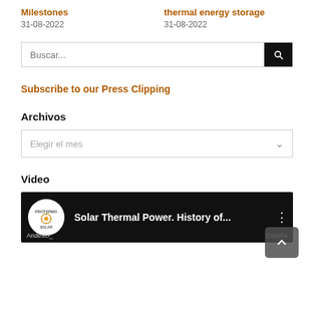Milestones
31-08-2022
thermal energy storage
31-08-2022
Buscar...
Subscribe to our Press Clipping
Archivos
Elegir el mes
Video
[Figure (screenshot): Video thumbnail showing Solar Thermal Power History with Protermo Solar logo]